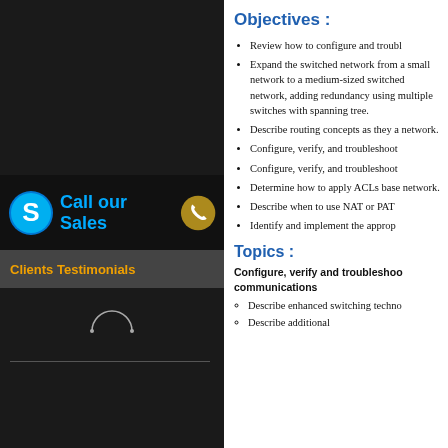[Figure (other): Dark left sidebar panel with Skype icon, Call our Sales text, phone icon, Clients Testimonials bar, and loading spinner]
Objectives :
Review how to configure and troubleshoot
Expand the switched network from a small network to a medium-sized switched network, adding redundancy using multiple switches with spanning tree.
Describe routing concepts as they apply to a medium-sized network.
Configure, verify, and troubleshoot
Configure, verify, and troubleshoot
Determine how to apply ACLs based on network requirements to the network.
Describe when to use NAT or PAT
Identify and implement the approp
Topics :
Configure, verify and troubleshoot communications
Describe enhanced switching techno
Describe additional